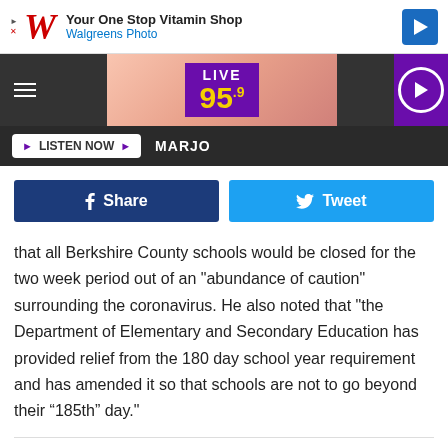[Figure (screenshot): Walgreens ad banner: 'Your One Stop Vitamin Shop' with Walgreens Photo logo and blue diamond icon]
[Figure (screenshot): Live 95.9 radio station banner with hamburger menu, pink gradient background, purple Live 95.9 logo, and purple play button]
[Figure (screenshot): Dark bar with 'LISTEN NOW' white button with purple play arrow and 'MARJO' text in white]
[Figure (screenshot): Social sharing row with dark blue Facebook Share button and light blue Twitter Tweet button]
that all Berkshire County schools would be closed for the two week period out of an "abundance of caution" surrounding the coronavirus. He also noted that "the Department of Elementary and Secondary Education has provided relief from the 180 day school year requirement and has amended it so that schools are not to go beyond their “185th” day."
Filed Under: Berkshire County, Closed, COVID-19: Coronavirus